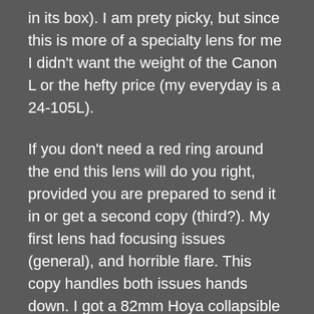in its box). I am prety picky, but since this is more of a specialty lens for me I didn't want the weight of the Canon L or the hefty price (my everyday is a 24-105L).
If you don't need a red ring around the end this lens will do you right, provided you are prepared to send it in or get a second copy (third?). My first lens had focusing issues (general), and horrible flare. This copy handles both issues hands down. I got a 82mm Hoya collapsible hood for it (check the auction site), and Pro 1 UV filter. It comes with what I consider to be a whimpy stock hood. Yes, I would recommend the UV as there is a lot of glass sticking out there.
Fast to focus, no real hunting issues and is usually spot on. If you don't need the Canon name on a lens to feel good about yourself this one is a keeper. Just remember that if at first you don't